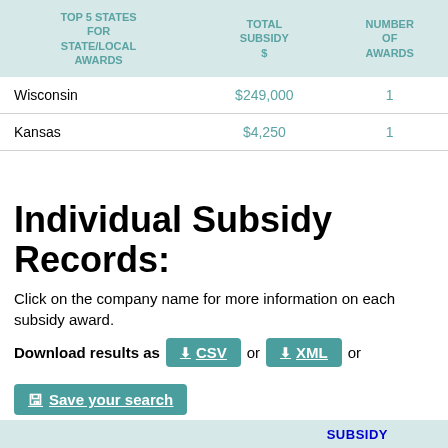| TOP 5 STATES FOR STATE/LOCAL AWARDS | TOTAL SUBSIDY $ | NUMBER OF AWARDS |
| --- | --- | --- |
| Wisconsin | $249,000 | 1 |
| Kansas | $4,250 | 1 |
Individual Subsidy Records:
Click on the company name for more information on each subsidy award.
Download results as CSV or XML or Save your search (Click here for information on download subscriptions)